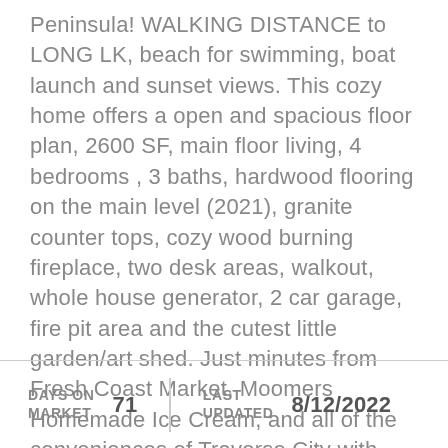Peninsula! WALKING DISTANCE to LONG LK, beach for swimming, boat launch and sunset views. This cozy home offers a open and spacious floor plan, 2600 SF, main floor living, 4 bedrooms , 3 baths, hardwood flooring on the main level (2021), granite counter tops, cozy wood burning fireplace, two desk areas, walkout, whole house generator, 2 car garage, fire pit area and the cutest little garden/art shed. Just minutes from Fresh Coast Market, Moomers Homemade Ice Cream, and all of the conveniences of Traverse City with shopping, wineries, restaurants, beaches, marinas, movie theaters and more!
| DAYS ON MARKET |  | LAST UPDATED |  |
| --- | --- | --- | --- |
|  | 71 |  | 8/12/2022 |